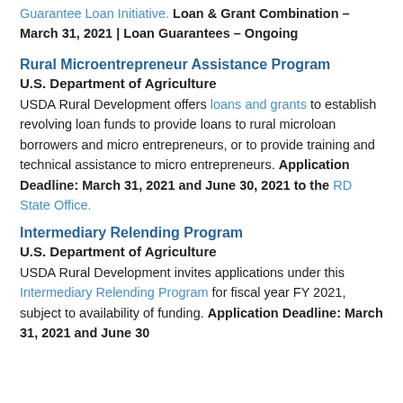Guarantee Loan Initiative. Loan & Grant Combination – March 31, 2021 | Loan Guarantees – Ongoing
Rural Microentrepreneur Assistance Program
U.S. Department of Agriculture
USDA Rural Development offers loans and grants to establish revolving loan funds to provide loans to rural microloan borrowers and micro entrepreneurs, or to provide training and technical assistance to micro entrepreneurs. Application Deadline: March 31, 2021 and June 30, 2021 to the RD State Office.
Intermediary Relending Program
U.S. Department of Agriculture
USDA Rural Development invites applications under this Intermediary Relending Program for fiscal year FY 2021, subject to availability of funding. Application Deadline: March 31, 2021 and June 30